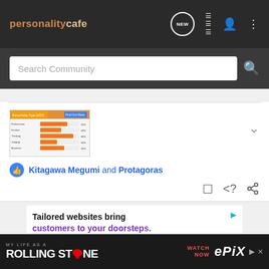personality cafe - navigation bar with NEW, list, user, and menu icons
Search Community
[Figure (screenshot): Thumbnail of a personality test result page showing colored bars]
Kitagawa Megumi and Protagoras
[Figure (infographic): Advertisement: Tailored websites bring customers to your doorsteps. TAKE THE... with person typing on laptop]
[Figure (infographic): Bottom banner ad: MY LIFE AS A ROLLING STONE - WATCH NOW ePIX]